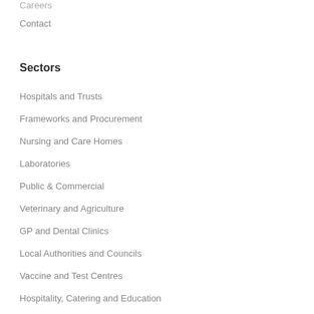Careers
Contact
Sectors
Hospitals and Trusts
Frameworks and Procurement
Nursing and Care Homes
Laboratories
Public & Commercial
Veterinary and Agriculture
GP and Dental Clinics
Local Authorities and Councils
Vaccine and Test Centres
Hospitality, Catering and Education